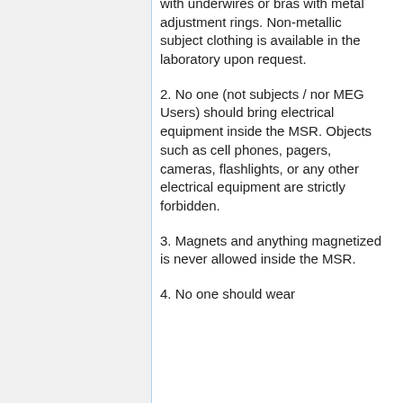with underwires or bras with metal adjustment rings. Non-metallic subject clothing is available in the laboratory upon request.
2. No one (not subjects / nor MEG Users) should bring electrical equipment inside the MSR. Objects such as cell phones, pagers, cameras, flashlights, or any other electrical equipment are strictly forbidden.
3. Magnets and anything magnetized is never allowed inside the MSR.
4. No one should wear